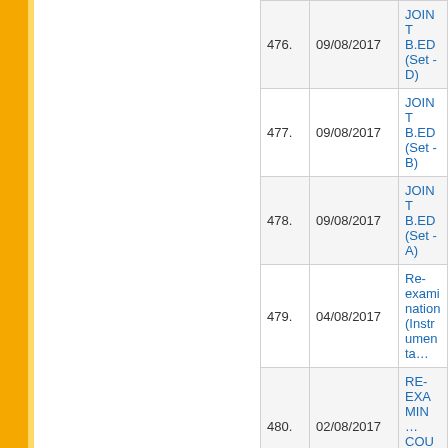| # | Date | Title |
| --- | --- | --- |
| 476. | 09/08/2017 | JOINT B.ED (Set - D) |
| 477. | 09/08/2017 | JOINT B.ED (Set - B) |
| 478. | 09/08/2017 | JOINT B.ED (Set - A) |
| 479. | 04/08/2017 | Re-examination (Instrumenta… |
| 480. | 02/08/2017 | RE-EXAMIN… COURSES) |
| 481. | 02/08/2017 | Re-Examina… SEMESTER |
| 482. | 01/08/2017 | ADDITION i… (Annual Syst… |
| 483. | 28/07/2017 | Result of ME… |
| 484. | 25/07/2017 | ADDITION i… 2ND & 3RD … 2017) |
| 485. | 24/07/2017 | Answer key … 2017 |
| 486. | 24/07/2017 | ADDITION i… Examinatio… |